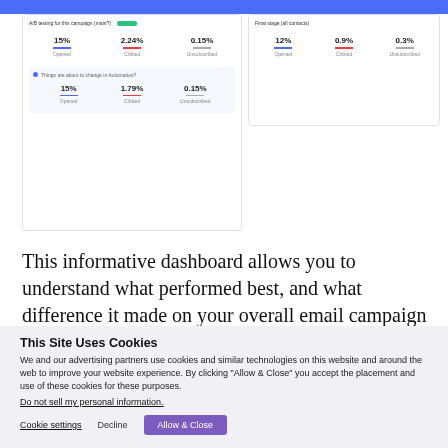[Figure (screenshot): Dashboard screenshot showing email campaign performance metrics in two cards. Left card shows stats: 15% Opened, 2.24% Clicked, 0.15% Unsubscribed, with a sub-section showing 15% Opened, 1.79% Clicked, 0.15% Unsubscribed. Right card shows: 12% Opened, 0.9% Clicked, 0.3% Unsubscribed.]
This informative dashboard allows you to understand what performed best, and what difference it made on your overall email campaign performance.
This Site Uses Cookies
We and our advertising partners use cookies and similar technologies on this website and around the web to improve your website experience. By clicking "Allow & Close" you accept the placement and use of these cookies for these purposes.
Do not sell my personal information.
Cookie settings   Decline   Allow & Close